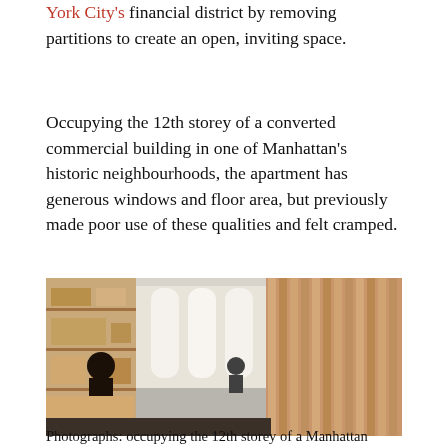York City's financial district by removing partitions to create an open, inviting space.
Occupying the 12th storey of a converted commercial building in one of Manhattan's historic neighbourhoods, the apartment has generous windows and floor area, but previously made poor use of these qualities and felt cramped.
[Figure (photo): Interior photograph of a minimalist apartment showing wooden slat wall panels on the right, open shelving on the left with a person seated, and a bright white area in the background with large windows and another person seated at a desk. A wooden bench/table is in the foreground.]
Photographs: occupying the 12th storey of a Manhattan...